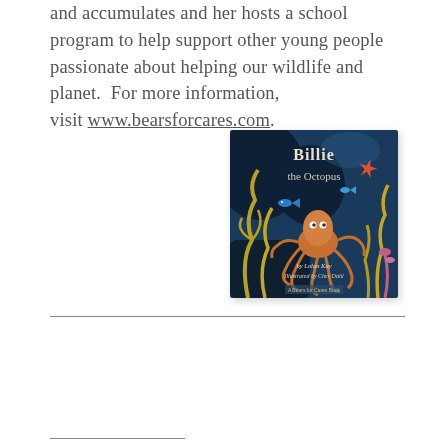and accumulates and her hosts a school program to help support other young people passionate about helping our wildlife and planet.  For more information, visit www.bearsforcares.com.
[Figure (illustration): Book cover for 'Billie the Octopus' showing an underwater ocean scene with an octopus, coral, fish, and sea plants on a dark blue background. Text reads: 'Billie the Octopus by Lolan Kay, Illustrated by Cher Dahl. A Bears for Cares Book.']